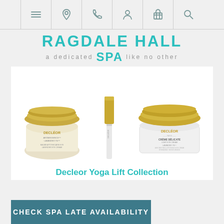Navigation bar with menu, location, phone, profile, cart, and search icons
RAGDALE HALL SPA a dedicated spa like no other
[Figure (photo): Three Decleor skincare products: a gold-lidded cream jar on the left, a slim gold tube in the center, and a white/gold square Decleor Crème Delicate eye cream jar on the right, against a white background.]
Decleor Yoga Lift Collection
CHECK SPA LATE AVAILABILITY